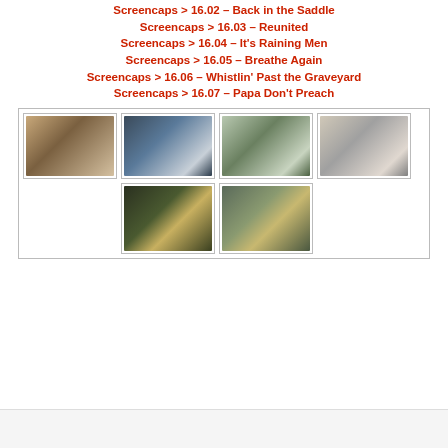Screencaps > 16.02 – Back in the Saddle
Screencaps > 16.03 – Reunited
Screencaps > 16.04 – It's Raining Men
Screencaps > 16.05 – Breathe Again
Screencaps > 16.06 – Whistlin' Past the Graveyard
Screencaps > 16.07 – Papa Don't Preach
[Figure (photo): Grid of 6 TV show screencaps arranged in two rows: top row has 4 images of male actors in various settings (hospital, casual), bottom row has 2 images including a man smiling in a suit with a flower and a man in profile.]